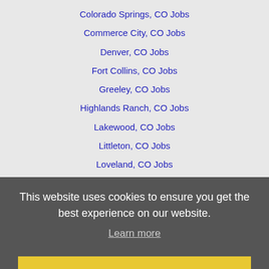Colorado Springs, CO Jobs
Commerce City, CO Jobs
Denver, CO Jobs
Fort Collins, CO Jobs
Greeley, CO Jobs
Highlands Ranch, CO Jobs
Lakewood, CO Jobs
Littleton, CO Jobs
Loveland, CO Jobs
Parker, CO Jobs
Southglenn, CO Jobs
Thornton, CO Jobs
Vail, CO Jobs
Westminster, CO Jobs
This website uses cookies to ensure you get the best experience on our website.
Learn more
Got it!
Home   Profile and Resume   Browse Jobs   Employers